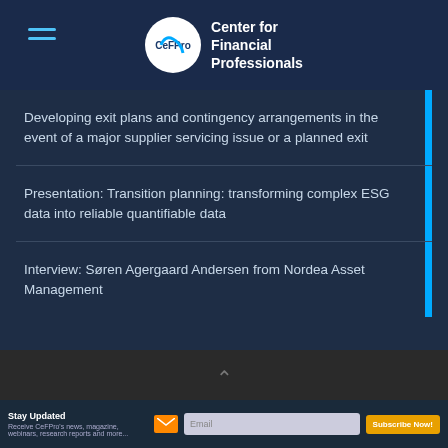Center for Financial Professionals
Developing exit plans and contingency arrangements in the event of a major supplier servicing issue or a planned exit
Presentation: Transition planning: transforming complex ESG data into reliable quantifiable data
Interview: Søren Agergaard Andersen from Nordea Asset Management
© 2020 Center for Financial Professionals, All rights reserved
Stay Updated
Receive CeFPro's news, magazine, webinars, research reports and more...